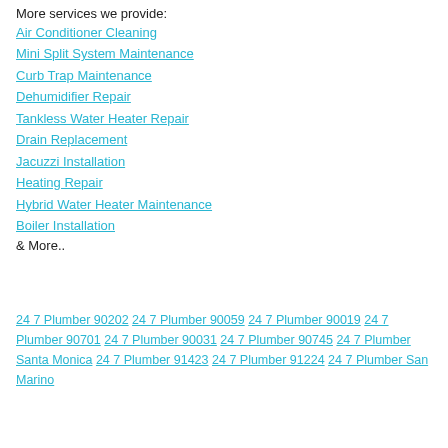More services we provide:
Air Conditioner Cleaning
Mini Split System Maintenance
Curb Trap Maintenance
Dehumidifier Repair
Tankless Water Heater Repair
Drain Replacement
Jacuzzi Installation
Heating Repair
Hybrid Water Heater Maintenance
Boiler Installation
& More..
24 7 Plumber 90202 24 7 Plumber 90059 24 7 Plumber 90019 24 7 Plumber 90701 24 7 Plumber 90031 24 7 Plumber 90745 24 7 Plumber Santa Monica 24 7 Plumber 91423 24 7 Plumber 91224 24 7 Plumber San Marino